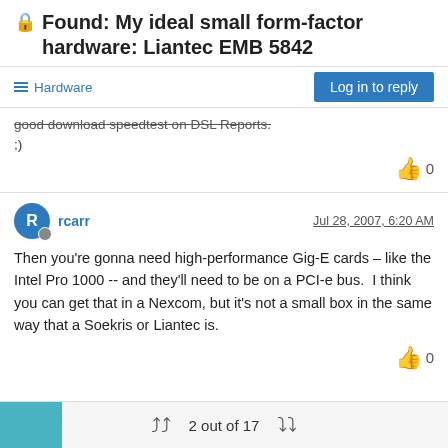🔒 Found: My ideal small form-factor hardware: Liantec EMB 5842
Hardware
good download speedtest on DSL Reports.
;)
👍 0
rcarr   Jul 28, 2007, 6:20 AM
Then you're gonna need high-performance Gig-E cards – like the Intel Pro 1000 -- and they'll need to be on a PCI-e bus.  I think you can get that in a Nexcom, but it's not a small box in the same way that a Soekris or Liantec is.
👍 0
2 out of 17